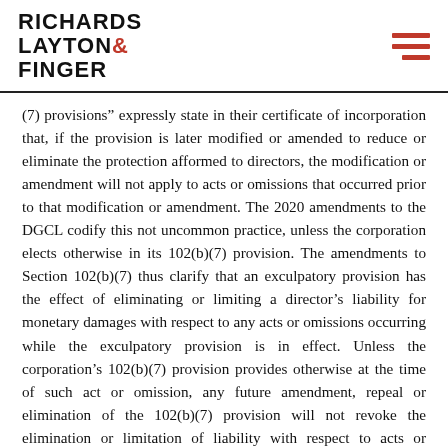Richards Layton & Finger
(7) provisions” expressly state in their certificate of incorporation that, if the provision is later modified or amended to reduce or eliminate the protection afformed to directors, the modification or amendment will not apply to acts or omissions that occurred prior to that modification or amendment. The 2020 amendments to the DGCL codify this not uncommon practice, unless the corporation elects otherwise in its 102(b)(7) provision. The amendments to Section 102(b)(7) thus clarify that an exculpatory provision has the effect of eliminating or limiting a director’s liability for monetary damages with respect to any acts or omissions occurring while the exculpatory provision is in effect. Unless the corporation’s 102(b)(7) provision provides otherwise at the time of such act or omission, any future amendment, repeal or elimination of the 102(b)(7) provision will not revoke the elimination or limitation of liability with respect to acts or omissions